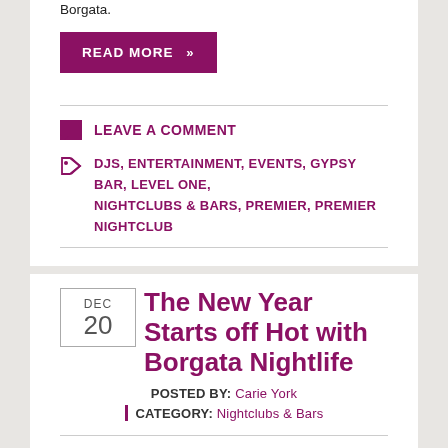Borgata.
READ MORE »
LEAVE A COMMENT
DJS, ENTERTAINMENT, EVENTS, GYPSY BAR, LEVEL ONE, NIGHTCLUBS & BARS, PREMIER, PREMIER NIGHTCLUB
The New Year Starts off Hot with Borgata Nightlife
POSTED BY: Carie York
CATEGORY: Nightclubs & Bars
After the ball drops on New Year's Eve, there's still plenty of hot nightlife at
[Figure (photo): Photo of a man with dark hair against a dark red background with light streaks]